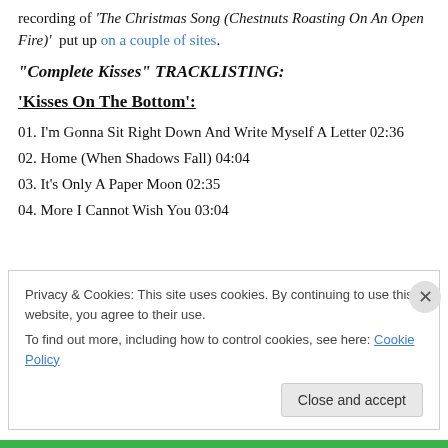recording of 'The Christmas Song (Chestnuts Roasting On An Open Fire)'  put up on a couple of sites.
“Complete Kisses” TRACKLISTING:
‘Kisses On The Bottom’:
01. I’m Gonna Sit Right Down And Write Myself A Letter 02:36
02. Home (When Shadows Fall) 04:04
03. It’s Only A Paper Moon 02:35
04. More I Cannot Wish You 03:04
Privacy & Cookies: This site uses cookies. By continuing to use this website, you agree to their use. To find out more, including how to control cookies, see here: Cookie Policy